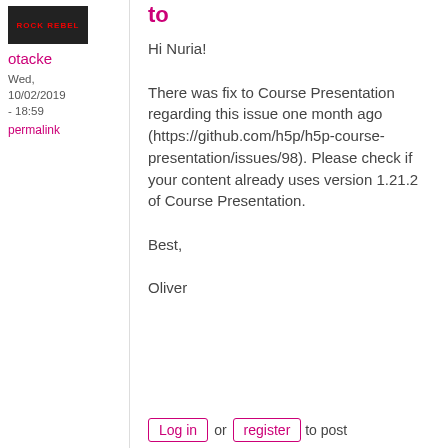[Figure (photo): Avatar image with dark background and 'ROCK REBEL' or similar text logo in red]
otacke
Wed, 10/02/2019 - 18:59
permalink
to
Hi Nuria!

There was fix to Course Presentation regarding this issue one month ago (https://github.com/h5p/h5p-course-presentation/issues/98). Please check if your content already uses version 1.21.2 of Course Presentation.

Best,

Oliver
Log in or register to post